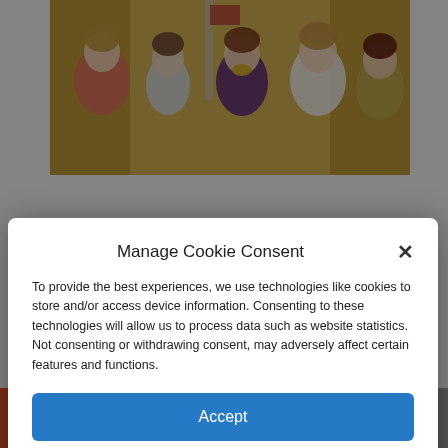[Figure (photo): Group of women at what appears to be a White House event, with an American flag and gold curtains in the background]
Manage Cookie Consent
To provide the best experiences, we use technologies like cookies to store and/or access device information. Consenting to these technologies will allow us to process data such as website statistics. Not consenting or withdrawing consent, may adversely affect certain features and functions.
Accept
Cookie Policy  Privacy Policy
problem of the alarming number of
+ f Twitter chain mail